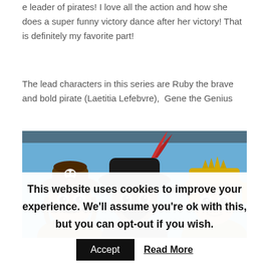e leader of pirates! I love all the action and how she does a super funny victory dance after her victory! That is definitely my favorite part!
The lead characters in this series are Ruby the brave and bold pirate (Laetitia Lefebvre),  Gene the Genius
[Figure (photo): Three cartoon toy pirate figures (Playmobil-style) against a blue sky background. Left figure has a skull hat and mustache, center figure wears a large black pirate hat with a red feather and has a beard, right figure wears a golden knight/conquistador helmet.]
This website uses cookies to improve your experience. We'll assume you're ok with this, but you can opt-out if you wish.
Accept   Read More